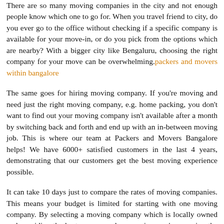There are so many moving companies in the city and not enough people know which one to go for. When you travel friend to city, do you ever go to the office without checking if a specific company is available for your move-in, or do you pick from the options which are nearby? With a bigger city like Bengaluru, choosing the right company for your move can be overwhelming. packers and movers within bangalore
The same goes for hiring moving company. If you're moving and need just the right moving company, e.g. home packing, you don't want to find out your moving company isn't available after a month by switching back and forth and end up with an in-between moving job. This is where our team at Packers and Movers Bangalore helps! We have 6000+ satisfied customers in the last 4 years, demonstrating that our customers get the best moving experience possible.
It can take 10 days just to compare the rates of moving companies. This means your budget is limited for starting with one moving company. By selecting a moving company which is locally owned and providing the best movers and companies, you're ensuring the best move experience in a